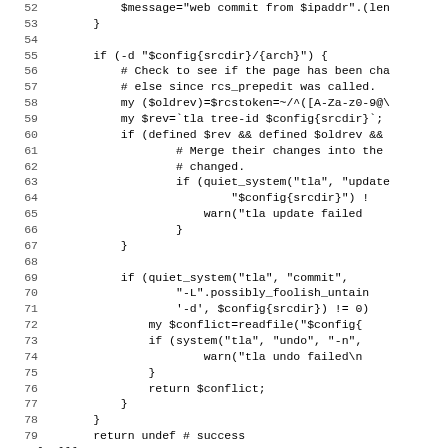[Figure (screenshot): Source code listing in Perl/monospace font showing lines 52–83 of a revision control script (rcs functions), with line numbers on the left and code on the right, cropped on the right side.]